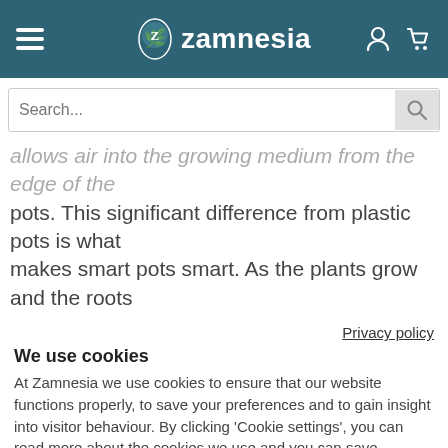Zamnesia
allows air into the growing medium from the edge of the pots. This significant difference from plastic pots is what makes smart pots smart. As the plants grow and the roots
Privacy policy
We use cookies
At Zamnesia we use cookies to ensure that our website functions properly, to save your preferences and to gain insight into visitor behaviour. By clicking 'Cookie settings', you can read more about the cookies we use and you can save preferences. By clicking 'Accept all cookies and continue' you agree to the use of all cookies as described in our privacy and cookie statement.
Accept all cookies and continue
Cookie settings